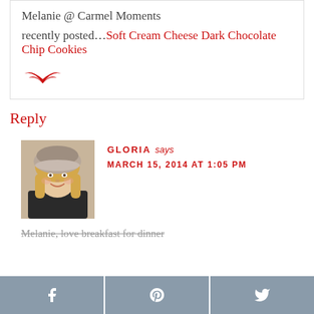Melanie @ Carmel Moments recently posted...Soft Cream Cheese Dark Chocolate Chip Cookies
[Figure (illustration): Small red decorative arrow/wings icon]
Reply
[Figure (photo): Profile photo of Gloria, a woman with long blonde hair wearing a furry winter hat]
GLORIA says
MARCH 15, 2014 AT 1:05 PM
Melanie, love breakfast for dinner
[Figure (infographic): Social share bar with Facebook, Pinterest, and Twitter buttons]